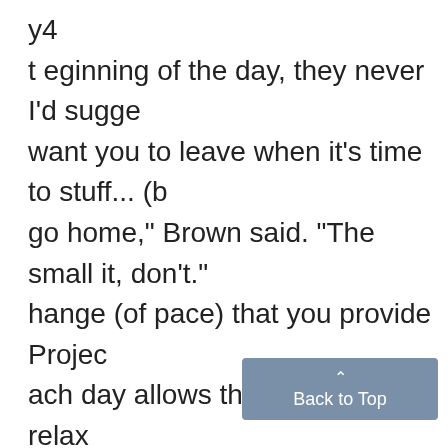y4
t eginning of the day, they never I'd sugge
want you to leave when it's time to stuff... (b
go home," Brown said. "The small it, don't."
hange (of pace) that you provide Projec
ach day allows the patients to relax
communit
dents. Th
VICTORS fers a s
Commun
Continued from page 1 Additi
(now) than they did 25 years ago. Donald H
Just because one Black man is for volunt
ejected to governorship, (it) is not houses ch